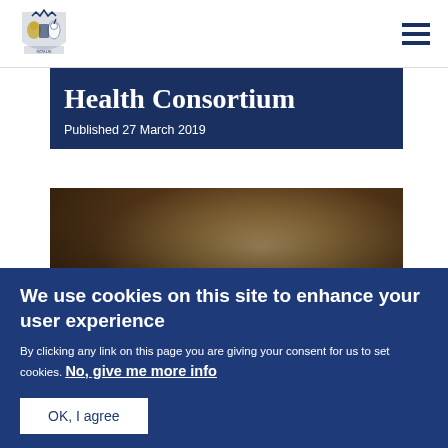UK Government coat of arms logo with hamburger menu
Health Consortium
Published 27 March 2019
[Figure (photo): Dark photo of people at an event, with NEWS label overlay]
We use cookies on this site to enhance your user experience
By clicking any link on this page you are giving your consent for us to set cookies. No, give me more info
OK, I agree